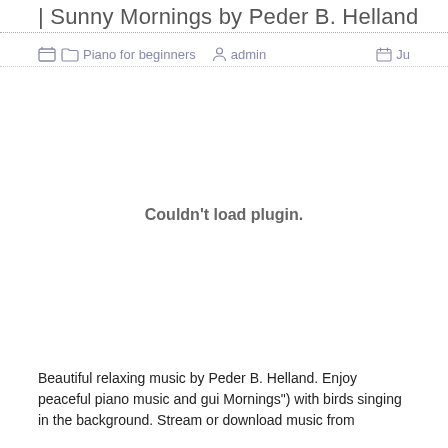| Sunny Mornings by Peder B. Helland
Piano for beginners   admin   Ju
[Figure (other): Embedded plugin area showing 'Couldn't load plugin.' message — audio/video plugin failed to load]
Beautiful relaxing music by Peder B. Helland. Enjoy peaceful piano music and gui Mornings") with birds singing in the background. Stream or download music from